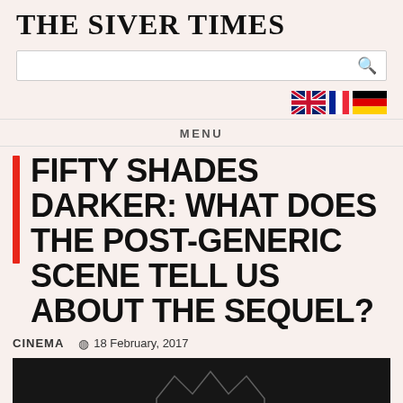THE SIVER TIMES
[Figure (screenshot): Search bar with search icon]
[Figure (illustration): UK, French, and German flag icons in a row]
MENU
FIFTY SHADES DARKER: WHAT DOES THE POST-GENERIC SCENE TELL US ABOUT THE SEQUEL?
CINEMA   18 February, 2017
[Figure (photo): Black and white photo of hands holding a crown/tiara]